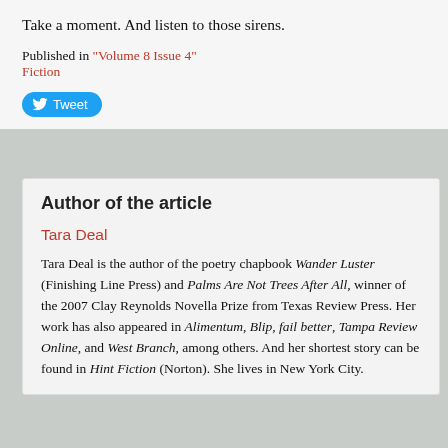Take a moment. And listen to those sirens.
Published in "Volume 8 Issue 4"
Fiction
[Figure (other): Tweet button with Twitter bird icon]
Author of the article
Tara Deal
Tara Deal is the author of the poetry chapbook Wander Luster (Finishing Line Press) and Palms Are Not Trees After All, winner of the 2007 Clay Reynolds Novella Prize from Texas Review Press. Her work has also appeared in Alimentum, Blip, fail better, Tampa Review Online, and West Branch, among others. And her shortest story can be found in Hint Fiction (Norton). She lives in New York City.